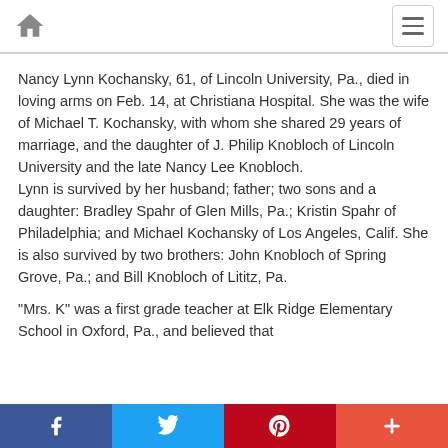Home icon and menu button
Nancy Lynn Kochansky, 61, of Lincoln University, Pa., died in loving arms on Feb. 14, at Christiana Hospital. She was the wife of Michael T. Kochansky, with whom she shared 29 years of marriage, and the daughter of J. Philip Knobloch of Lincoln University and the late Nancy Lee Knobloch.
Lynn is survived by her husband; father; two sons and a daughter: Bradley Spahr of Glen Mills, Pa.; Kristin Spahr of Philadelphia; and Michael Kochansky of Los Angeles, Calif. She is also survived by two brothers: John Knobloch of Spring Grove, Pa.; and Bill Knobloch of Lititz, Pa.
"Mrs. K" was a first grade teacher at Elk Ridge Elementary School in Oxford, Pa., and believed that
Facebook Twitter Pinterest Plus